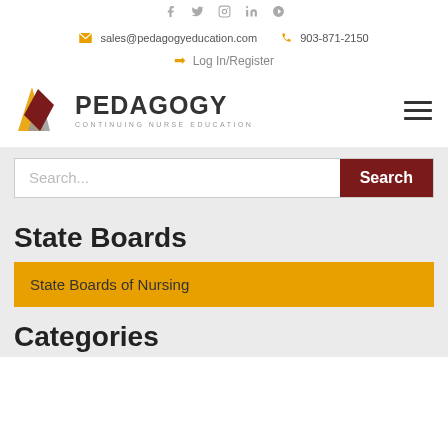f  t  instagram  in  pinterest
sales@pedagogyeducation.com   903-871-2150
Log In/Register
[Figure (logo): Pedagogy Continuing Nurse Education logo with stylized book/page icon in gold, gray, and dark red colors]
State Boards
State Boards of Nursing
Categories